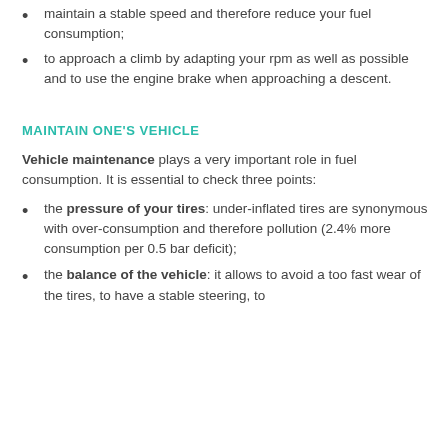maintain a stable speed and therefore reduce your fuel consumption;
to approach a climb by adapting your rpm as well as possible and to use the engine brake when approaching a descent.
MAINTAIN ONE'S VEHICLE
Vehicle maintenance plays a very important role in fuel consumption. It is essential to check three points:
the pressure of your tires: under-inflated tires are synonymous with over-consumption and therefore pollution (2.4% more consumption per 0.5 bar deficit);
the balance of the vehicle: it allows to avoid a too fast wear of the tires, to have a stable steering, to